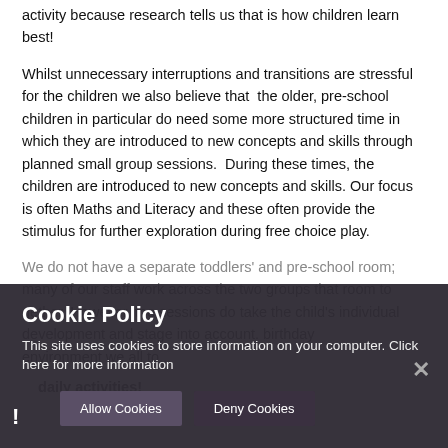activity because research tells us that is how children learn best!
Whilst unnecessary interruptions and transitions are stressful for the children we also believe that the older, pre-school children in particular do need some more structured time in which they are introduced to new concepts and skills through planned small group sessions.  During these times, the children are introduced to new concepts and skills. Our focus is often Maths and Literacy and these often provide the stimulus for further exploration during free choice play.
We do not have a separate toddlers' and pre-school room; many of our staff work across the two groups that room together. However, the sessions do take the child's individual development and stage into account. birthday ... environment we all to ... daily activities!
Cookie Policy
This site uses cookies to store information on your computer. Click here for more information